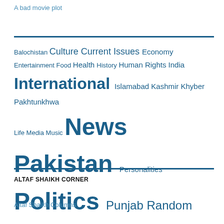A bad movie plot
Balochistan Culture Current Issues Economy Entertainment Food Health History Human Rights India International Islamabad Kashmir Khyber Pakhtunkhwa Life Media Music News Pakistan Personalities Politics Punjab Random Religion Science Sindh Sindhi Uncategorized Video
ALTAF SHAIKH CORNER
Altaf Shaikh Columns